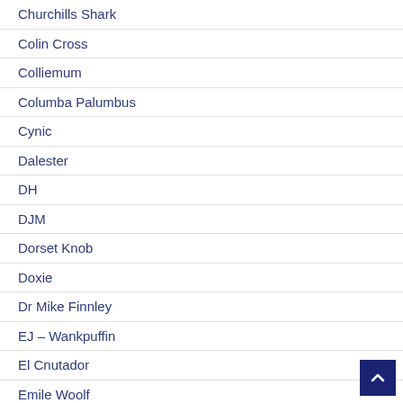Churchills Shark
Colin Cross
Colliemum
Columba Palumbus
Cynic
Dalester
DH
DJM
Dorset Knob
Doxie
Dr Mike Finnley
EJ – Wankpuffin
El Cnutador
Emile Woolf